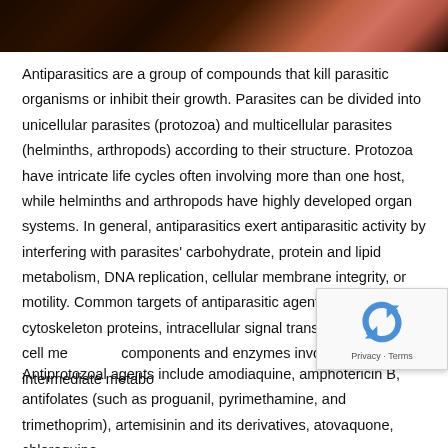[Figure (photo): Dark microscopic image of parasitic organisms with a reddish organism visible on the right side]
Antiparasitics are a group of compounds that kill parasitic organisms or inhibit their growth. Parasites can be divided into unicellular parasites (protozoa) and multicellular parasites (helminths, arthropods) according to their structure. Protozoa have intricate life cycles often involving more than one host, while helminths and arthropods have highly developed organ systems. In general, antiparasitics exert antiparasitic activity by interfering with parasites' carbohydrate, protein and lipid metabolism, DNA replication, cellular membrane integrity, or motility. Common targets of antiparasitic agents include genes, cytoskeleton proteins, intracellular signal transduction proteins, cell me... components and enzymes involved in intermediate metabo...
Antiprotozoal agents include amodiaquine, amphotericin B, antifolates (such as proguanil, pyrimethamine, and trimethoprim), artemisinin and its derivatives, atovaquone, chloroquine, ...